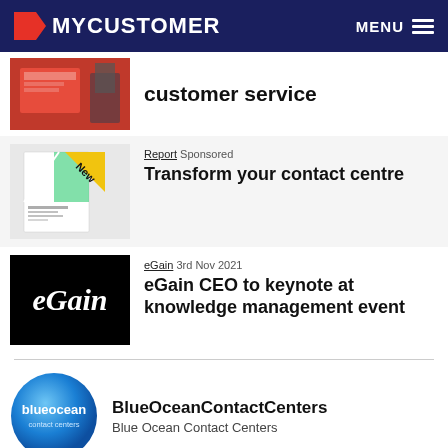MYCUSTOMER  MENU
customer service
Report  Sponsored
Transform your contact centre
eGain  3rd Nov 2021
eGain CEO to keynote at knowledge management event
BlueOceanContactCenters
Blue Ocean Contact Centers